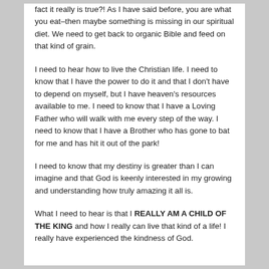fact it really is true?!  As I have said before, you are what you eat–then maybe something is missing in our spiritual diet.  We need to get back to organic Bible and feed on that kind of grain.
I need to hear how to live the Christian life.  I need to know that I have the power to do it and that I don't have to depend on myself, but I have heaven's resources available to me.  I need to know that I have a Loving Father who will walk with me every step of the way.  I need to know that I have a Brother who has gone to bat for me and has hit it out of the park!
I need to know that my destiny is greater than I can imagine and that God is keenly interested in my growing and understanding how truly amazing it all is.
What I need to hear is that I REALLY AM A CHILD OF THE KING and how I really can live that kind of a life!  I really have experienced the kindness of God.